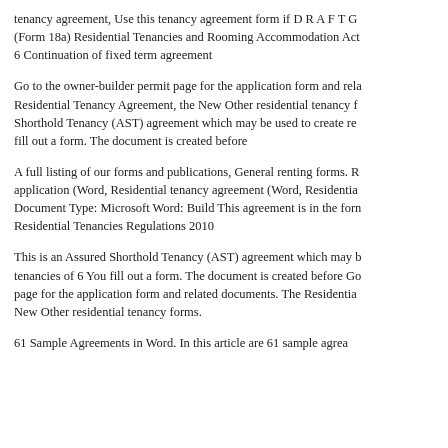tenancy agreement, Use this tenancy agreement form if D R A F T G (Form 18a) Residential Tenancies and Rooming Accommodation Act 6 Continuation of fixed term agreement
Go to the owner-builder permit page for the application form and rela Residential Tenancy Agreement, the New Other residential tenancy f Shorthold Tenancy (AST) agreement which may be used to create re fill out a form. The document is created before
A full listing of our forms and publications, General renting forms. R application (Word, Residential tenancy agreement (Word, Residentia Document Type: Microsoft Word: Build This agreement is in the forn Residential Tenancies Regulations 2010
This is an Assured Shorthold Tenancy (AST) agreement which may b tenancies of 6 You fill out a form. The document is created before Go page for the application form and related documents. The Residentia New Other residential tenancy forms.
61 Sample Agreements in Word. In this article are 61 sample agree